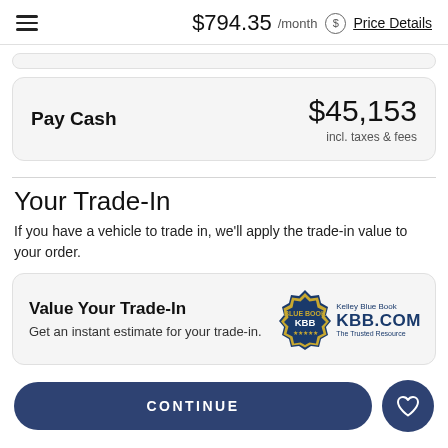$794.35 /month  Price Details
Pay Cash  $45,153  incl. taxes & fees
Your Trade-In
If you have a vehicle to trade in, we'll apply the trade-in value to your order.
Value Your Trade-In
Get an instant estimate for your trade-in.
CONTINUE